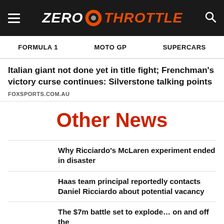ZERO THROTTLE
FORMULA 1   MOTO GP   SUPERCARS
Italian giant not done yet in title fight; Frenchman's victory curse continues: Silverstone talking points
FOXSPORTS.COM.AU
Other News
Why Ricciardo's McLaren experiment ended in disaster
Haas team principal reportedly contacts Daniel Ricciardo about potential vacancy
The $7m battle set to explode… on and off the